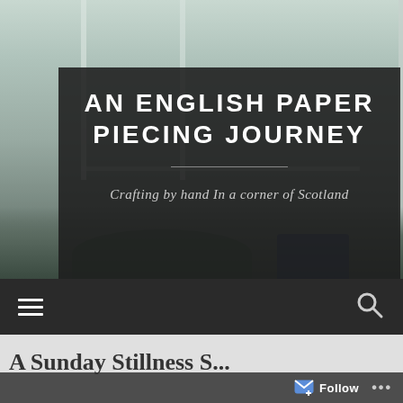[Figure (photo): Background photo of a window with light coming through, showing greenery and flowers on a windowsill in a room, serving as the blog header background image.]
AN ENGLISH PAPER PIECING JOURNEY
Crafting by hand In a corner of Scotland
[Figure (other): Navigation bar with hamburger menu icon on the left and search (magnifying glass) icon on the right, dark background.]
A Sunday Stillness S...
[Figure (other): Follow button bar at the bottom with a follow icon and 'Follow' text and ellipsis menu.]